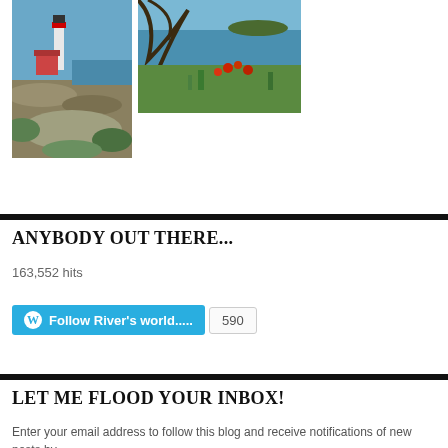[Figure (photo): Photo of a lighthouse on a rocky coast with blue sky]
[Figure (photo): Photo of a garden near water with trees and red flowers]
ANYBODY OUT THERE...
163,552 hits
[Figure (other): Follow River's world..... button with 590 follower count]
LET ME FLOOD YOUR INBOX!
Enter your email address to follow this blog and receive notifications of new posts by